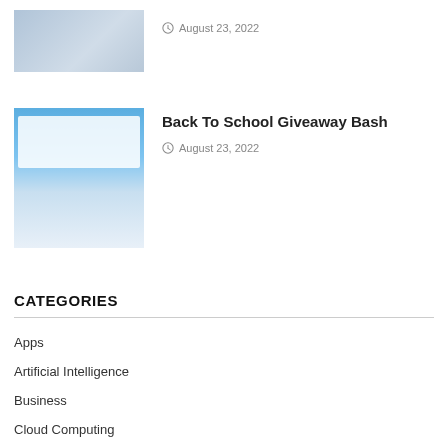[Figure (photo): Thumbnail image of people working at a desk with laptops in an office setting]
August 23, 2022
[Figure (screenshot): Thumbnail screenshot of Back To School Giveaway Bash webpage with blue header and product images]
Back To School Giveaway Bash
August 23, 2022
CATEGORIES
Apps
Artificial Intelligence
Business
Cloud Computing